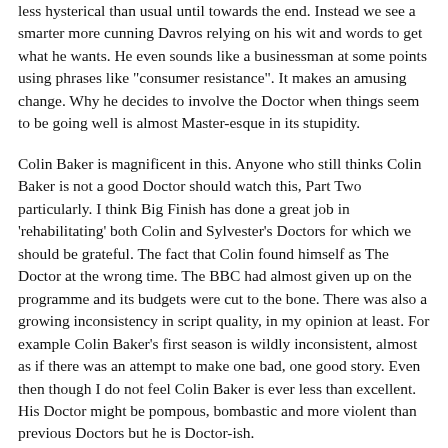less hysterical than usual until towards the end. Instead we see a smarter more cunning Davros relying on his wit and words to get what he wants. He even sounds like a businessman at some points using phrases like "consumer resistance". It makes an amusing change. Why he decides to involve the Doctor when things seem to be going well is almost Master-esque in its stupidity.
Colin Baker is magnificent in this. Anyone who still thinks Colin Baker is not a good Doctor should watch this, Part Two particularly. I think Big Finish has done a great job in 'rehabilitating' both Colin and Sylvester's Doctors for which we should be grateful. The fact that Colin found himself as The Doctor at the wrong time. The BBC had almost given up on the programme and its budgets were cut to the bone. There was also a growing inconsistency in script quality, in my opinion at least. For example Colin Baker's first season is wildly inconsistent, almost as if there was an attempt to make one bad, one good story. Even then though I do not feel Colin Baker is ever less than excellent. His Doctor might be pompous, bombastic and more violent than previous Doctors but he is Doctor-ish.